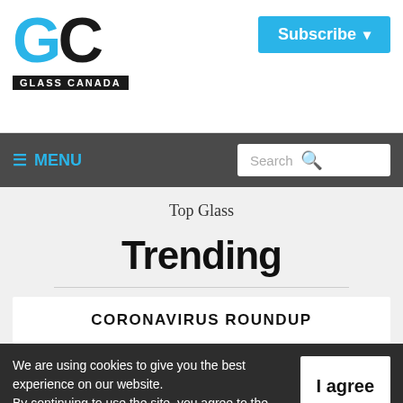[Figure (logo): Glass Canada logo with GC letters in blue and black and 'GLASS CANADA' text on black bar]
[Figure (other): Subscribe button with dropdown arrow in blue]
≡ MENU   Search
Top Glass
Trending
CORONAVIRUS ROUNDUP
We are using cookies to give you the best experience on our website. By continuing to use the site, you agree to the use of cookies. To find out more, read our privacy policy.